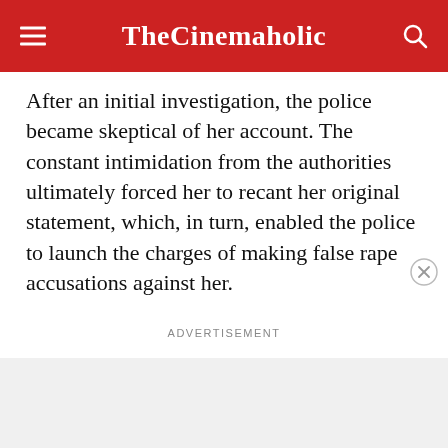TheCinemaholic
After an initial investigation, the police became skeptical of her account. The constant intimidation from the authorities ultimately forced her to recant her original statement, which, in turn, enabled the police to launch the charges of making false rape accusations against her.
ADVERTISEMENT